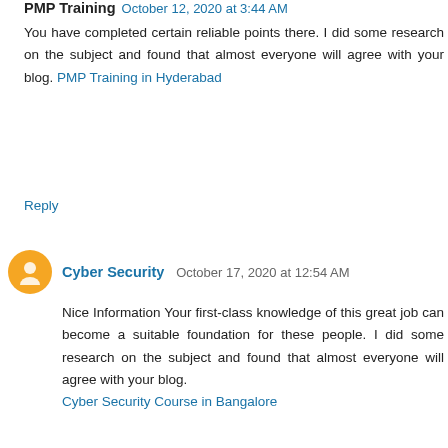PMP Training  October 12, 2020 at 3:44 AM
You have completed certain reliable points there. I did some research on the subject and found that almost everyone will agree with your blog. PMP Training in Hyderabad
Reply
Cyber Security  October 17, 2020 at 12:54 AM
Nice Information Your first-class knowledge of this great job can become a suitable foundation for these people. I did some research on the subject and found that almost everyone will agree with your blog. Cyber Security Course in Bangalore
Reply
Cyber Security Course  October 17, 2020 at 2:20 AM
Writing in style and getting good compliments on the article is hard enough, to be honest, but you did it so calmly and with such a great feeling and got the job done. This item is